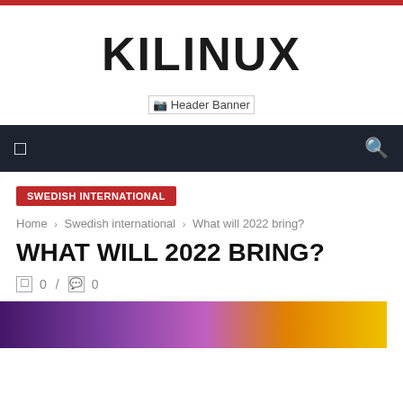KILINUX
[Figure (other): Header Banner image placeholder]
Navigation bar with menu and search icons
SWEDISH INTERNATIONAL
Home › Swedish international › What will 2022 bring?
WHAT WILL 2022 BRING?
0 / 0
[Figure (photo): Colorful preview image at the bottom of the page]